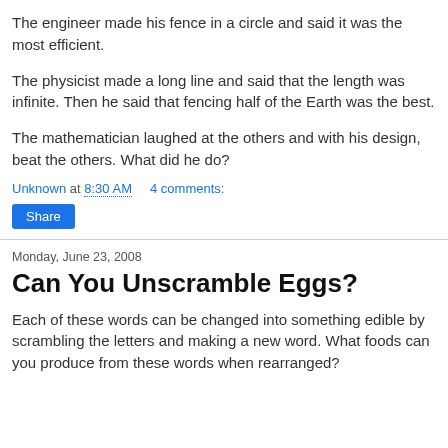The engineer made his fence in a circle and said it was the most efficient.
The physicist made a long line and said that the length was infinite. Then he said that fencing half of the Earth was the best.
The mathematician laughed at the others and with his design, beat the others. What did he do?
Unknown at 8:30 AM    4 comments:
Share
Monday, June 23, 2008
Can You Unscramble Eggs?
Each of these words can be changed into something edible by scrambling the letters and making a new word. What foods can you produce from these words when rearranged?